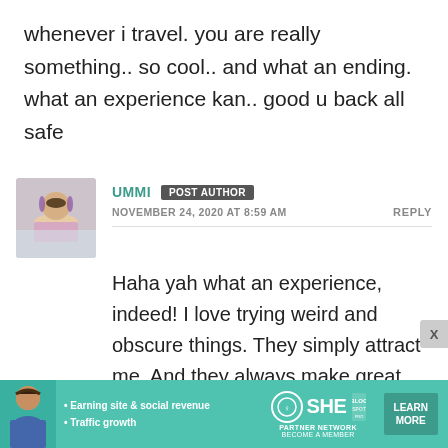whenever i travel. you are really something.. so cool.. and what an ending. what an experience kan.. good u back all safe
UMMI POST AUTHOR
NOVEMBER 24, 2020 AT 8:59 AM
REPLY
Haha yah what an experience, indeed! I love trying weird and obscure things. They simply attract me. And they always make great stories too! 😄
[Figure (other): Advertisement banner for SHE Partner Network with text: Earning site & social revenue, Traffic growth, LEARN MORE button]
[Figure (photo): Profile photo of Ummi, a woman with a purple scarf in front of a historic building]